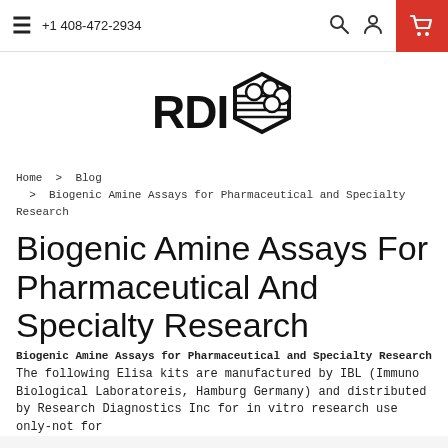+1 408-472-2934
[Figure (logo): RDI logo with hexagon shape containing circles and horizontal lines, bold text RDI to the left]
Home > Blog > Biogenic Amine Assays for Pharmaceutical and Specialty Research
Biogenic Amine Assays For Pharmaceutical And Specialty Research
Biogenic Amine Assays for Pharmaceutical and Specialty Research
The following Elisa kits are manufactured by IBL (Immuno Biological Laboratoreis, Hamburg Germany) and distributed by Research Diagnostics Inc for in vitro research use only-not for